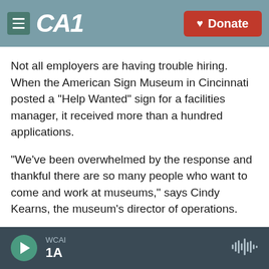CAI | Donate
Not all employers are having trouble hiring. When the American Sign Museum in Cincinnati posted a "Help Wanted" sign for a facilities manager, it received more than a hundred applications.
"We've been overwhelmed by the response and thankful there are so many people who want to come and work at museums," says Cindy Kearns, the museum's director of operations.
But many other businesses are struggling to find labor.
WCAI 1A